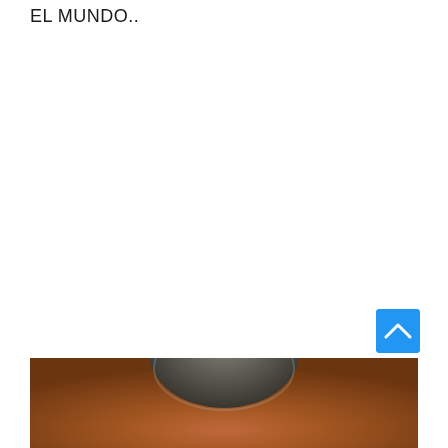EL MUNDO..
[Figure (photo): Partial photo of a person's head/face visible at the bottom of the page against an orange/brown blurred background]
[Figure (other): Blue scroll-to-top button with upward chevron arrow in bottom right corner]